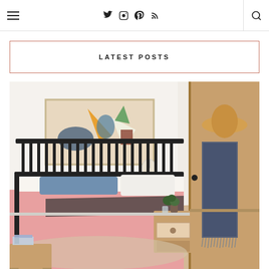Navigation header with hamburger menu, social icons (Twitter, Instagram, Pinterest, RSS), and search icon
LATEST POSTS
[Figure (photo): Bedroom interior with black spindle bed, pink comforter, blue pillow, abstract wall art, wooden nightstand with plant, and a wooden door with hat and blue throw blanket hanging on it]